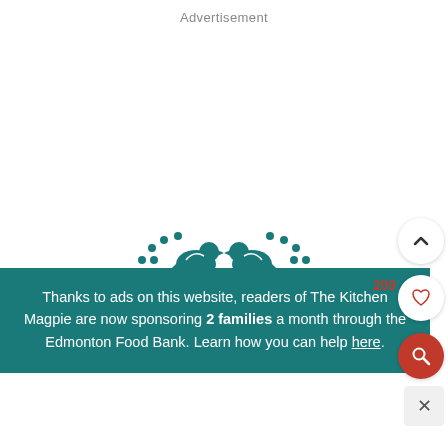Advertisement
[Figure (illustration): Two teal birds (magpies) facing each other with decorative floral/dot patterns, perched above a nest, rendered as a logo/illustration in teal color]
Thanks to ads on this website, readers of The Kitchen Magpie are now sponsoring 2 families a month through the Edmonton Food Bank. Learn how you can help here.